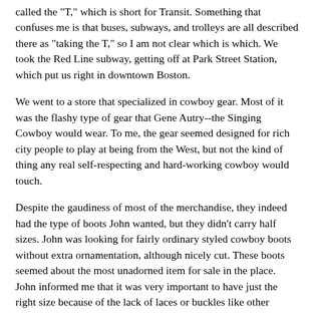called the "T," which is short for Transit. Something that confuses me is that buses, subways, and trolleys are all described there as "taking the T," so I am not clear which is which. We took the Red Line subway, getting off at Park Street Station, which put us right in downtown Boston.
We went to a store that specialized in cowboy gear. Most of it was the flashy type of gear that Gene Autry--the Singing Cowboy would wear. To me, the gear seemed designed for rich city people to play at being from the West, but not the kind of thing any real self-respecting and hard-working cowboy would touch.
Despite the gaudiness of most of the merchandise, they indeed had the type of boots John wanted, but they didn't carry half sizes. John was looking for fairly ordinary styled cowboy boots without extra ornamentation, although nicely cut. These boots seemed about the most unadorned item for sale in the place. John informed me that it was very important to have just the right size because of the lack of laces or buckles like other books. This made sense to me, although I had never thought about it since I do not wear cowboy boots. He decided that he needed a size between two whole number sizes, so this store did not have what he wanted after all.
John asked me what kind of boots I like.